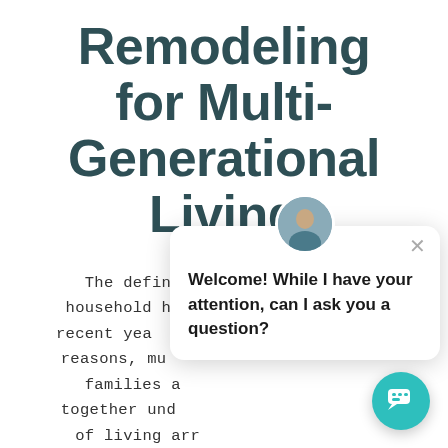Remodeling for Multi-Generational Living
The definition of the typical household has been changing in recent years. For various reasons, multi-generational families are choosing to live together under one roof. This kind of living arrangement allows for easy child care, live-in care of older or disabled relatives, and it can be economical for everyone involved. But one thing's for sure, most
[Figure (screenshot): Chat popup widget with user avatar photo, close button (×), and message: 'Welcome! While I have your attention, can I ask you a question?' with a teal chat button in the bottom right corner.]